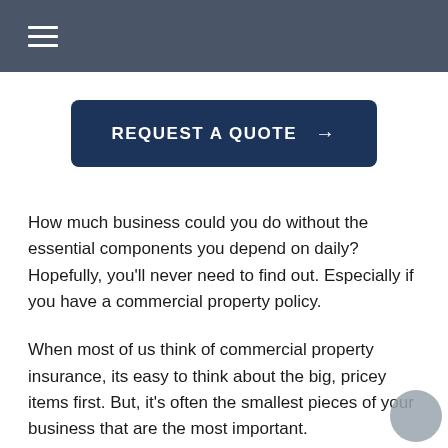REQUEST A QUOTE →
How much business could you do without the essential components you depend on daily? Hopefully, you'll never need to find out. Especially if you have a commercial property policy.
When most of us think of commercial property insurance, its easy to think about the big, pricey items first. But, it's often the smallest pieces of your business that are the most important.